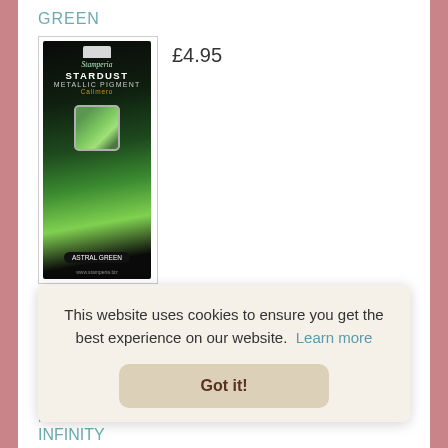GREEN
[Figure (photo): Stamperia Stardust Metallic Pigment product in green packaging showing 'Astral Green' pigment in a small square container]
£4.95
PRE-ORDER: Stamperia Home For The Holiday CLEAR COLOURED DIE-CUTS
[Figure (photo): Stamperia Home For The Holiday Clear Coloured Die-Cuts product package with holiday imagery]
£7.75
This website uses cookies to ensure you get the best experience on our website.  Learn more
Got it!
PRI
INFINITY